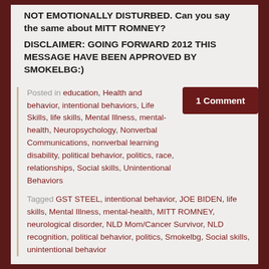NOT EMOTIONALLY DISTURBED. Can you say the same about MITT ROMNEY?
DISCLAIMER: GOING FORWARD 2012 THIS MESSAGE HAVE BEEN APPROVED BY SMOKELBG:)
Posted in education, Health and behavior, intentional behaviors, Life Skills, life skills, Mental Illness, mental-health, Neuropsychology, Nonverbal Communications, nonverbal learning disability, political behavior, politics, race, relationships, Social skills, Unintentional Behaviors
Tagged GST STEEL, intentional behavior, JOE BIDEN, life skills, Mental Illness, mental-health, MITT ROMNEY, neurological disorder, NLD Mom/Cancer Survivor, NLD recognition, political behavior, politics, Smokelbg, Social skills, unintentional behavior
1 Comment